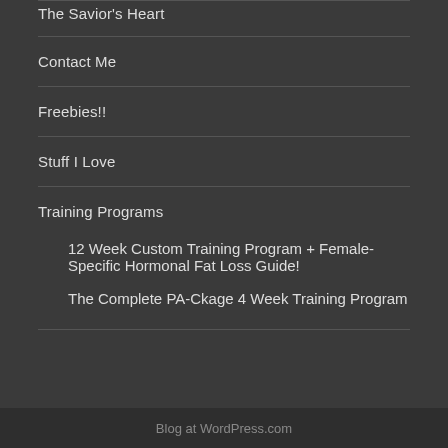The Savior's Heart
Contact Me
Freebies!!
Stuff I Love
Training Programs
12 Week Custom Training Program + Female-Specific Hormonal Fat Loss Guide!
The Complete PA-Ckage 4 Week Training Program
Blog at WordPress.com